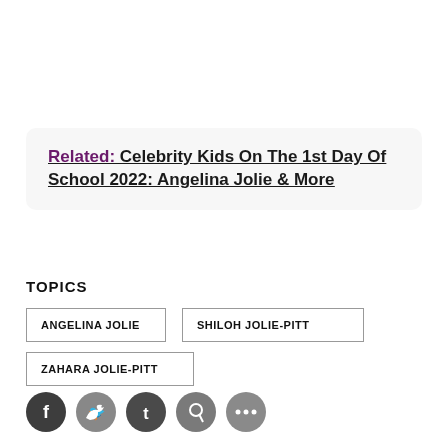Related: Celebrity Kids On The 1st Day Of School 2022: Angelina Jolie & More
TOPICS
ANGELINA JOLIE
SHILOH JOLIE-PITT
ZAHARA JOLIE-PITT
[Figure (infographic): Social sharing icons: Facebook, Twitter, Tumblr, Pinterest, More]